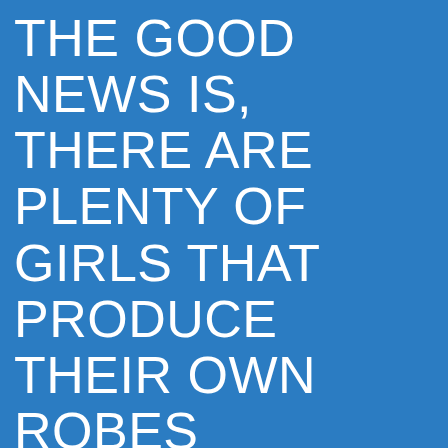THE GOOD NEWS IS, THERE ARE PLENTY OF GIRLS THAT PRODUCE THEIR OWN ROBES TOGETHER WITH WEB BIRDES-TO-BE. IT CAN BE A VERY SIMPLE METHOD TO GO CUSTOMIZED TO THE WEDDING PARTY. MUCH